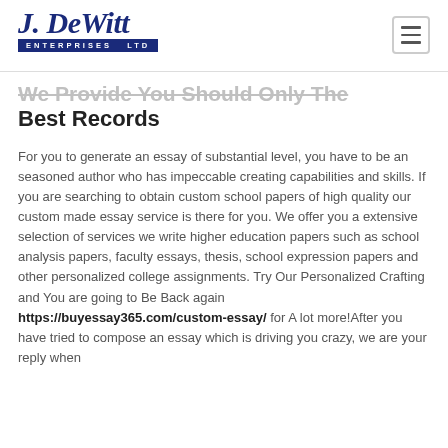J. DeWitt Enterprises Ltd
We Provide You Should Only The Best Records
For you to generate an essay of substantial level, you have to be an seasoned author who has impeccable creating capabilities and skills. If you are searching to obtain custom school papers of high quality our custom made essay service is there for you. We offer you a extensive selection of services we write higher education papers such as school analysis papers, faculty essays, thesis, school expression papers and other personalized college assignments. Try Our Personalized Crafting and You are going to Be Back again https://buyessay365.com/custom-essay/ for A lot more!After you have tried to compose an essay which is driving you crazy, we are your reply when